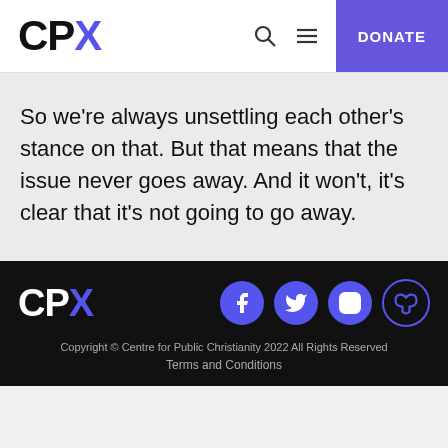CPX — DONATE
So we're always unsettling each other's stance on that. But that means that the issue never goes away. And it won't, it's clear that it's not going to go away.
CPX — Facebook, Twitter, Instagram, Bluesky social icons — Copyright © Centre for Public Christianity 2022 All Rights Reserved — Terms and Conditions